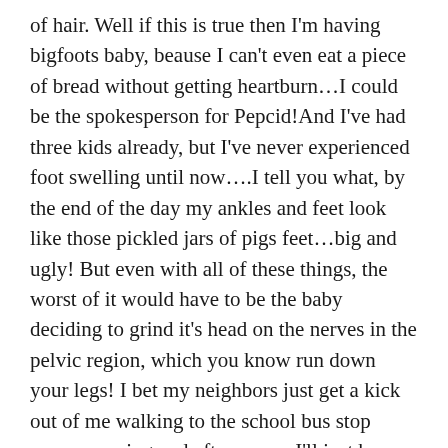of hair. Well if this is true then I'm having bigfoots baby, beause I can't even eat a piece of bread without getting heartburn…I could be the spokesperson for Pepcid!And I've had three kids already, but I've never experienced foot swelling until now….I tell you what, by the end of the day my ankles and feet look like those pickled jars of pigs feet…big and ugly! But even with all of these things, the worst of it would have to be the baby deciding to grind it's head on the nerves in the pelvic region, which you know run down your legs! I bet my neighbors just get a kick out of me walking to the school bus stop every morning and afternoon…I'll just be walking along and all of a sudden sharp, lightning like pains shoot down my legs making me do the involuntary chicken dance! Oh yeah, pregnancy is just a bowlful of cherries! Good thing at the end of it all